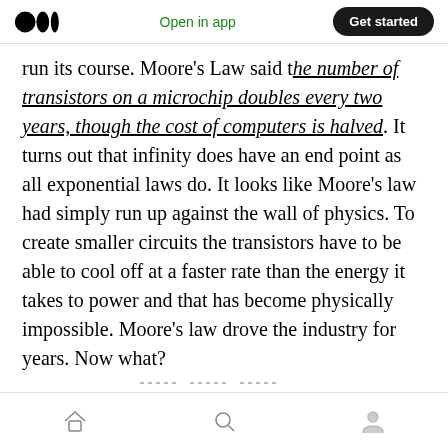Medium app header — Open in app | Get started
run its course. Moore's Law said the number of transistors on a microchip doubles every two years, though the cost of computers is halved. It turns out that infinity does have an end point as all exponential laws do. It looks like Moore's law had simply run up against the wall of physics. To create smaller circuits the transistors have to be able to cool off at a faster rate than the energy it takes to power and that has become physically impossible. Moore's law drove the industry for years. Now what?
Bottom navigation bar with home, search, and profile icons